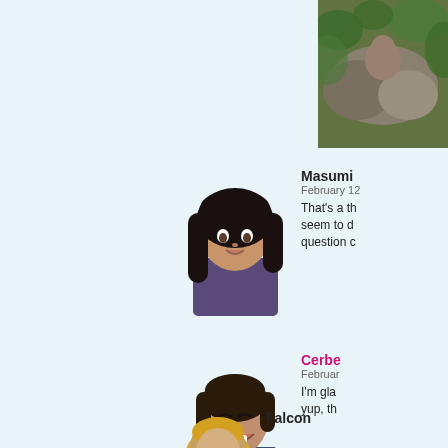[Figure (photo): Photo of an animal (appears to be a monkey or similar) among rocks and foliage, partially visible at top right of page]
[Figure (illustration): Cartoon avatar of Masumi - dark-haired anime-style female character with purple outfit]
Masumi
February 12
That's a th... seem to d... question c...
[Figure (illustration): Cartoon avatar of Cerberus - dark-haired smiling male character]
Cerbe...
Februar...
I'm gla... yup, th...
[Figure (illustration): Cartoon avatar of Falcon - partially visible at bottom right]
Falcon